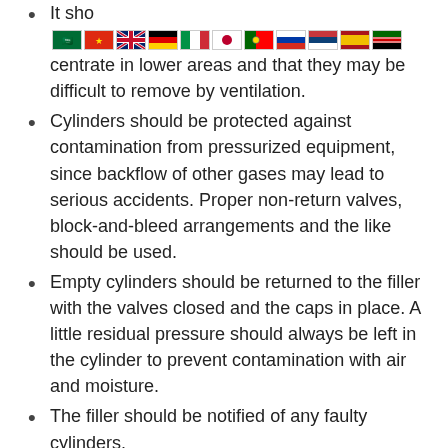It should concentrate in lower areas and that they may be difficult to remove by ventilation.
Cylinders should be protected against contamination from pressurized equipment, since backflow of other gases may lead to serious accidents. Proper non-return valves, block-and-bleed arrangements and the like should be used.
Empty cylinders should be returned to the filler with the valves closed and the caps in place. A little residual pressure should always be left in the cylinder to prevent contamination with air and moisture.
The filler should be notified of any faulty cylinders.
Acetylene should only be used at a correctly reduced pressure.
Flame arrestors should only be used in acetylene lines where acetylene is used with compressed air or oxygen.
Fire extinguishers and heat-protecting gloves should be available with gas welding equipment.
Liquid gas cylinders should be stored and used in an